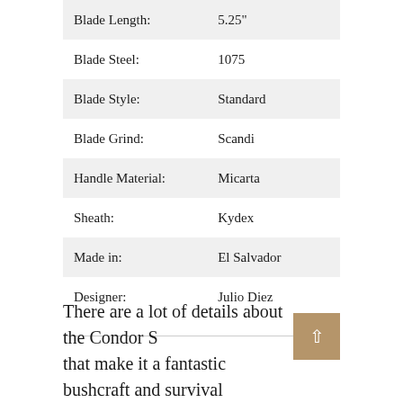| Attribute | Value |
| --- | --- |
| Blade Length: | 5.25" |
| Blade Steel: | 1075 |
| Blade Style: | Standard |
| Blade Grind: | Scandi |
| Handle Material: | Micarta |
| Sheath: | Kydex |
| Made in: | El Salvador |
| Designer: | Julio Diez |
There are a lot of details about the Condor S… that make it a fantastic bushcraft and survival